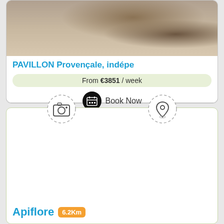[Figure (photo): Top portion of a property listing card showing a photo of an interior/outdoor space with a table and chairs on a tiled floor]
PAVILLON Provençale, indépe
From €3851 / week
Book Now
[Figure (infographic): Second property listing card with camera icon and location pin icon placeholders, blank map area, showing Apiflore property 6.2Km away]
Apiflore 6.2Km